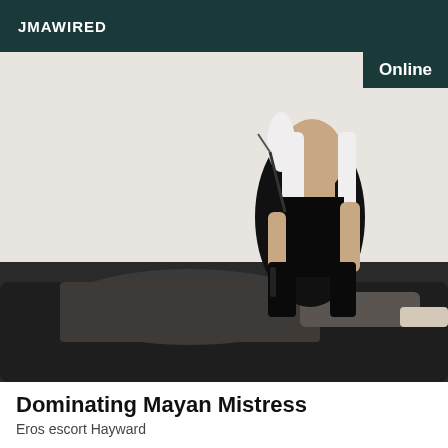JMAWIRED
[Figure (photo): Profile photo showing a person in black latex outfit with long white hair holding a whip, posed over another person on a dark couch. An 'Online' badge appears in the top-right corner of the image.]
Dominating Mayan Mistress
Eros escort Hayward